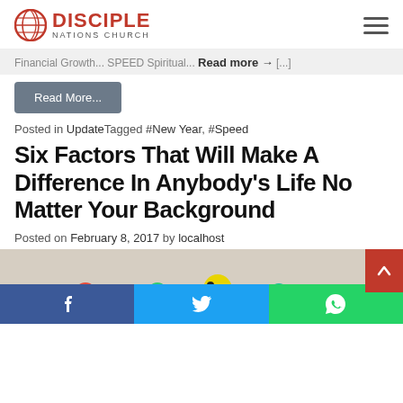DISCIPLE NATIONS CHURCH
Financial Growth... SPEED Spiritual... Read more → [...]
Read More...
Posted in UpdateTagged #New Year, #Speed
Six Factors That Will Make A Difference In Anybody’s Life No Matter Your Background
Posted on February 8, 2017 by localhost
[Figure (photo): Colorful parakeets/budgerigars in a row against a beige background]
f  t  © (share buttons: Facebook, Twitter, WhatsApp)